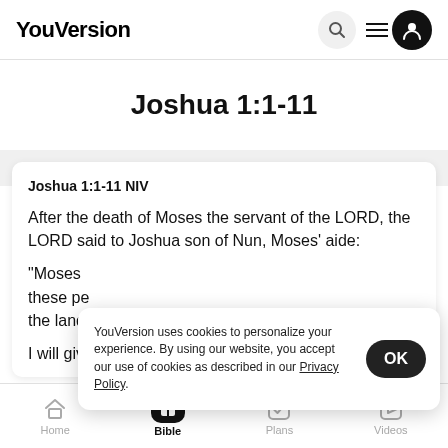YouVersion
Joshua 1:1-11
Joshua 1:1-11 NIV
After the death of Moses the servant of the LORD, the LORD said to Joshua son of Nun, Moses' aide: "Moses [these pe...] the land...
I will give you every place where you set your foot, as
YouVersion uses cookies to personalize your experience. By using our website, you accept our use of cookies as described in our Privacy Policy.
Home  Bible  Plans  Videos